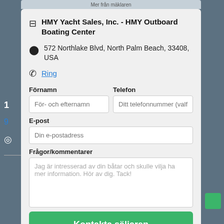HMY Yacht Sales, Inc. - HMY Outboard Boating Center
572 Northlake Blvd, North Palm Beach, 33408, USA
Ring
Förnamn
Telefon
E-post
Frågor/kommentarer
Kontakta säljaren